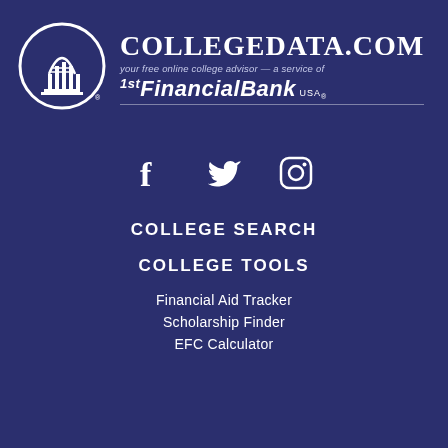[Figure (logo): CollegeData.com logo with circular building icon and 1st Financial Bank USA branding on dark navy background]
[Figure (infographic): Social media icons: Facebook (f), Twitter (bird), Instagram (camera outline)]
COLLEGE SEARCH
COLLEGE TOOLS
Financial Aid Tracker
Scholarship Finder
EFC Calculator